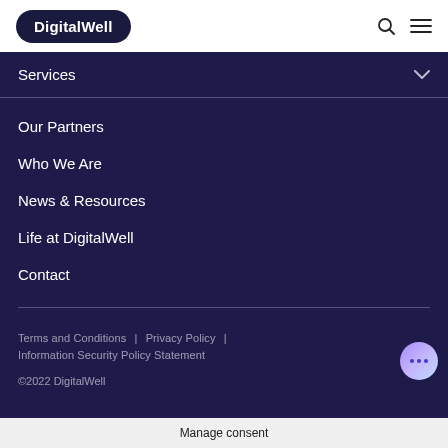DigitalWell
Services
Our Partners
Who We Are
News & Resources
Life at DigitalWell
Contact
Terms and Conditions | Privacy Policy | Information Security Policy Statement
©2022 DigitalWell
Manage consent